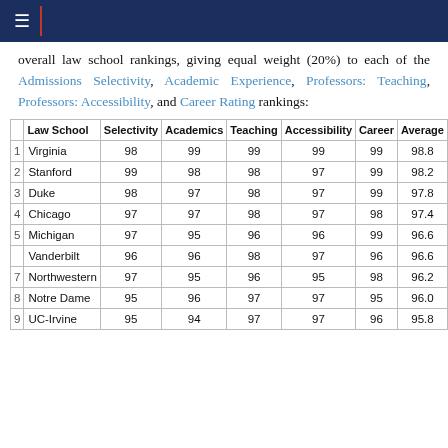overall law school rankings, giving equal weight (20%) to each of the Admissions Selectivity, Academic Experience, Professors: Teaching, Professors: Accessibility, and Career Rating rankings:
|  | Law School | Selectivity | Academics | Teaching | Accessibility | Career | Average |
| --- | --- | --- | --- | --- | --- | --- | --- |
| 1 | Virginia | 98 | 99 | 99 | 99 | 99 | 98.8 |
| 2 | Stanford | 99 | 98 | 98 | 97 | 99 | 98.2 |
| 3 | Duke | 98 | 97 | 98 | 97 | 99 | 97.8 |
| 4 | Chicago | 97 | 97 | 98 | 97 | 98 | 97.4 |
| 5 | Michigan | 97 | 95 | 96 | 96 | 99 | 96.6 |
|  | Vanderbilt | 96 | 96 | 98 | 97 | 96 | 96.6 |
| 7 | Northwestern | 97 | 95 | 96 | 95 | 98 | 96.2 |
| 8 | Notre Dame | 95 | 96 | 97 | 97 | 95 | 96.0 |
| 9 | UC-Irvine | 95 | 94 | 97 | 97 | 96 | 95.8 |